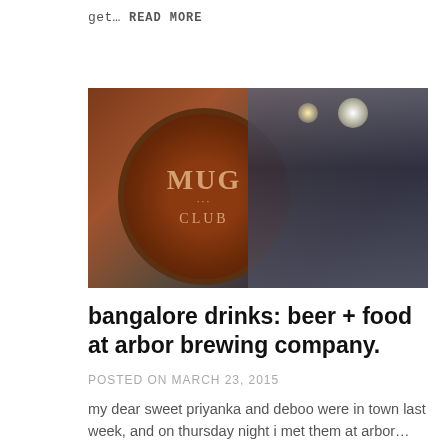get… READ MORE
[Figure (photo): Photo of MUG CLUB sign — a dark reddish-brown circular sign with 'MUG CLUB' lettering in gold/tan, photographed inside a bar with dim lighting and glass reflections in background]
bangalore drinks: beer + food at arbor brewing company.
POSTED ON MARCH 23, 2015
my dear sweet priyanka and deboo were in town last week, and on thursday night i met them at arbor… READ MORE